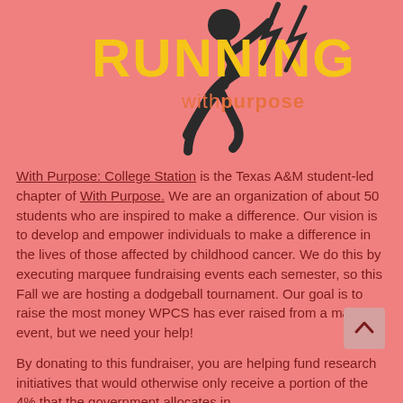[Figure (logo): Running With Purpose logo — stylized runner silhouette with yellow 'RUNNING' text and salmon 'with purpose' text]
With Purpose: College Station is the Texas A&M student-led chapter of With Purpose. We are an organization of about 50 students who are inspired to make a difference. Our vision is to develop and empower individuals to make a difference in the lives of those affected by childhood cancer. We do this by executing marquee fundraising events each semester, so this Fall we are hosting a dodgeball tournament. Our goal is to raise the most money WPCS has ever raised from a marquee event, but we need your help!
By donating to this fundraiser, you are helping fund research initiatives that would otherwise only receive a portion of the 4% that the government allocates in